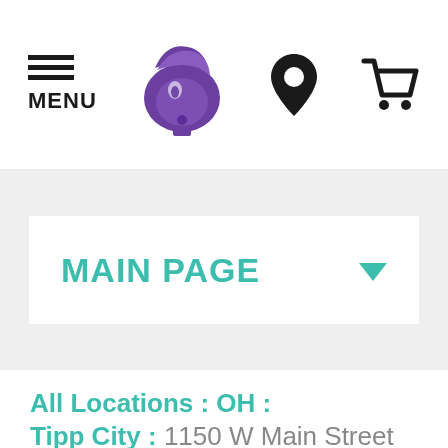MENU | Taco Bell Logo | Location | Cart
[Figure (logo): Taco Bell purple logo with stylized bell and ribbon]
MAIN PAGE
All Locations : OH : Tipp City : 1150 W Main Street